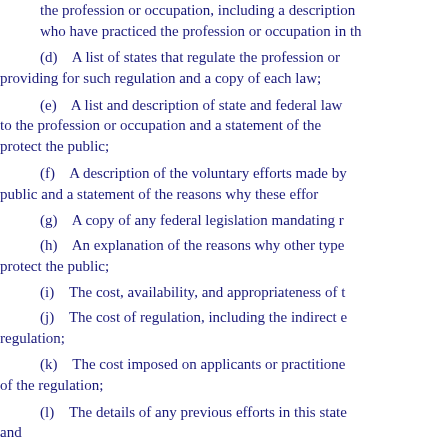the profession or occupation, including a description who have practiced the profession or occupation in th
(d)    A list of states that regulate the profession or providing for such regulation and a copy of each law;
(e)    A list and description of state and federal law to the profession or occupation and a statement of the protect the public;
(f)    A description of the voluntary efforts made by public and a statement of the reasons why these effor
(g)    A copy of any federal legislation mandating r
(h)    An explanation of the reasons why other type protect the public;
(i)    The cost, availability, and appropriateness of t
(j)    The cost of regulation, including the indirect e regulation;
(k)    The cost imposed on applicants or practitione of the regulation;
(l)    The details of any previous efforts in this state and
(m)    Any other information the agency or the con legislation.
(5)    The agency shall provide the Legislature with that provides for new regulation of a profession or oc